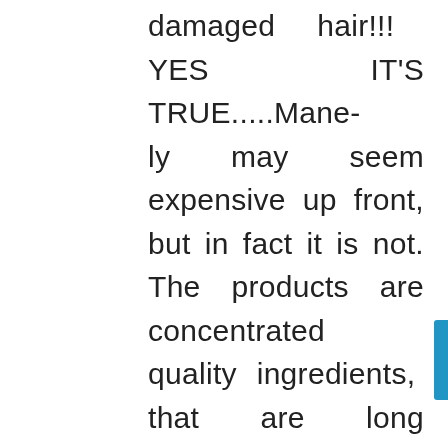damaged hair!!! YES IT'S TRUE.....Mane-ly may seem expensive up front, but in fact it is not. The products are concentrated quality ingredients, that are long lasting and work! Mane-y is made for Horses, Dogs, People too!

Get ahead of the buying hole now... get our starter kit, or start with hydrate 24 , polisher, and shampoo.....its so easy and you will find ongoing results as you maintain, romomber it may not be